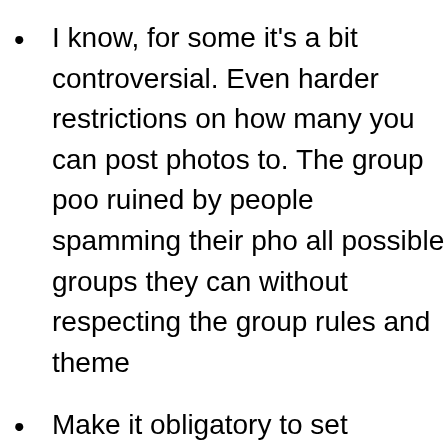I know, for some it's a bit controversial. Even harder restrictions on how many you can post photos to. The group poo ruined by people spamming their pho all possible groups they can without respecting the group rules and theme
Make it obligatory to set content-type photos again, so it's possible for peop interested in those 3D-renderings and screenshots to avoid them. Or groups disallow them.
Keep exif copyright info in all display s generated (for a short period it actuall